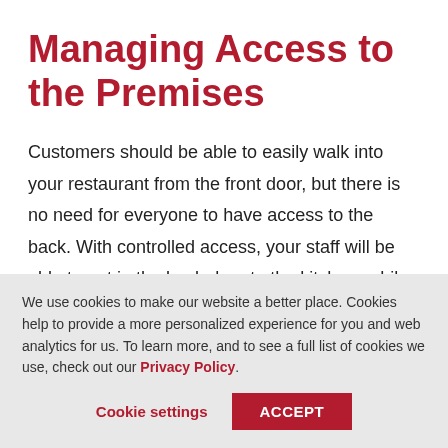Managing Access to the Premises
Customers should be able to easily walk into your restaurant from the front door, but there is no need for everyone to have access to the back. With controlled access, your staff will be able to get in the back door to the kitchen, while it remains locked for anyone who does
We use cookies to make our website a better place. Cookies help to provide a more personalized experience for you and web analytics for us. To learn more, and to see a full list of cookies we use, check out our Privacy Policy.
Cookie settings ACCEPT